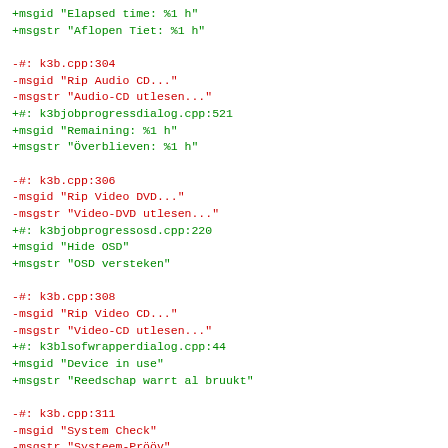+msgid "Elapsed time: %1 h"
+msgstr "Aflopen Tiet: %1 h"

-#: k3b.cpp:304
-msgid "Rip Audio CD..."
-msgstr "Audio-CD utlesen..."
+#: k3bjobprogressdialog.cpp:521
+msgid "Remaining: %1 h"
+msgstr "Overblieven: %1 h"

-#: k3b.cpp:306
-msgid "Rip Video DVD..."
-msgstr "Video-DVD utlesen..."
+#: k3bjobprogressosd.cpp:220
+msgid "Hide OSD"
+msgstr "OSD versteken"

-#: k3b.cpp:308
-msgid "Rip Video CD..."
-msgstr "Video-CD utlesen..."
+#: k3blsofwrapperdialog.cpp:44
+msgid "Device in use"
+msgstr "Reedschap warrt al bruukt"

-#: k3b.cpp:311
-msgid "System Check"
-msgstr "Systeem-Prööv"
+#: k3blsofwrapperdialog.cpp:51
+msgid "Quit the other applications"
+msgstr "Beenn apper Programmen"